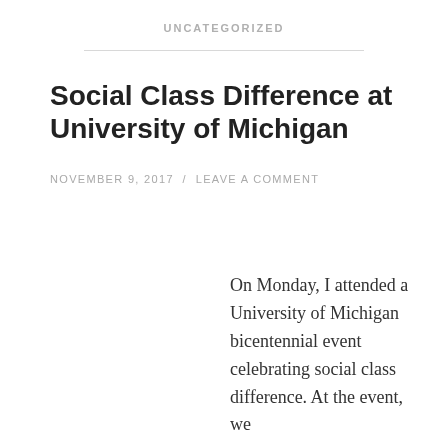UNCATEGORIZED
Social Class Difference at University of Michigan
NOVEMBER 9, 2017 / LEAVE A COMMENT
On Monday, I attended a University of Michigan bicentennial event celebrating social class difference. At the event, we